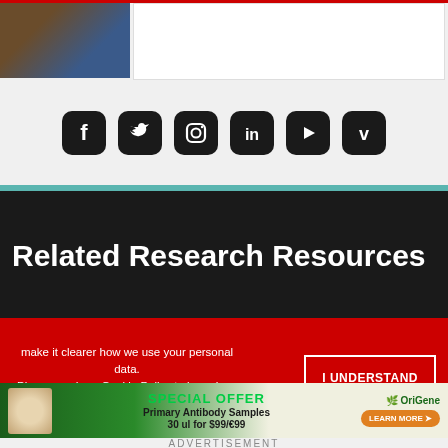[Figure (photo): Partial photo of what appears to be a person or animal, showing dark blue fabric and brown/tan skin tones, cropped at the top of the page]
[Figure (infographic): Row of six social media icons (Facebook, Twitter, Instagram, LinkedIn, YouTube, Vimeo) displayed as white symbols on black rounded-square backgrounds]
Related Research Resources
[Figure (photo): Partially visible blurred image with pink/red tones, cropped, appearing below the Related Research Resources heading]
make it clearer how we use your personal data.
Please read our Cookie Policy to learn how we use cookies to provide you
[Figure (infographic): I UNDERSTAND button on red cookie consent banner]
[Figure (advertisement): OriGene special offer advertisement banner: Primary Antibody Samples 30 ul for $99/€99 with Learn More button]